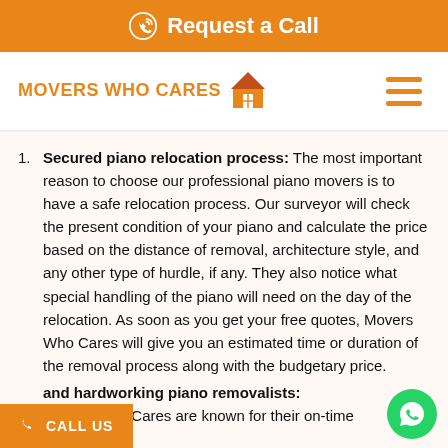Request a Call
[Figure (logo): Movers Who Cares logo with house icon]
Secured piano relocation process: The most important reason to choose our professional piano movers is to have a safe relocation process. Our surveyor will check the present condition of your piano and calculate the price based on the distance of removal, architecture style, and any other type of hurdle, if any. They also notice what special handling of the piano will need on the day of the relocation. As soon as you get your free quotes, Movers Who Cares will give you an estimated time or duration of the removal process along with the budgetary price.
and hardworking piano removalists: Movers Who Cares are known for their on-time